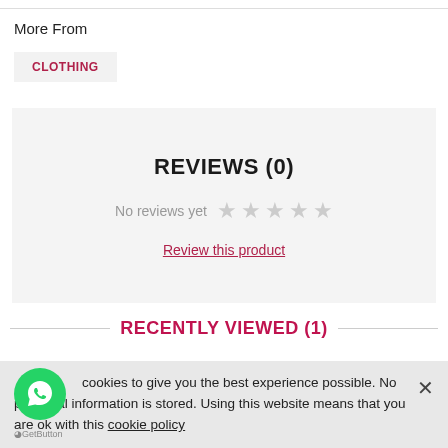More From
CLOTHING
REVIEWS (0)
No reviews yet ☆☆☆☆☆
Review this product
RECENTLY VIEWED (1)
cookies to give you the best experience possible. No personal information is stored. Using this website means that you are ok with this cookie policy